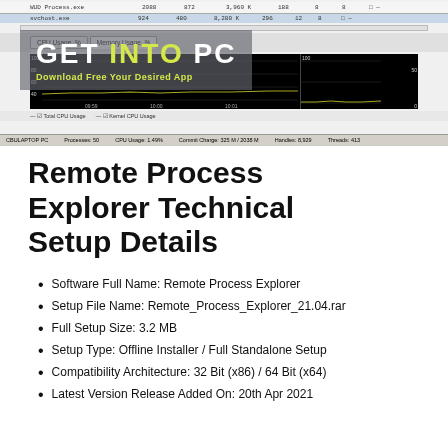[Figure (screenshot): Windows Task Manager screenshot showing process list and CPU/Memory usage graph, with GET INTO PC watermark overlay]
Remote Process Explorer Technical Setup Details
Software Full Name: Remote Process Explorer
Setup File Name: Remote_Process_Explorer_21.04.rar
Full Setup Size: 3.2 MB
Setup Type: Offline Installer / Full Standalone Setup
Compatibility Architecture: 32 Bit (x86) / 64 Bit (x64)
Latest Version Release Added On: 20th Apr 2021